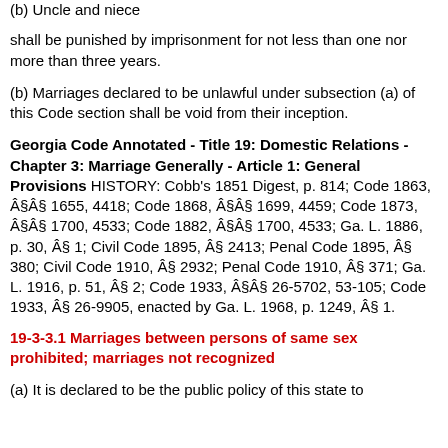(b) Uncle and niece
shall be punished by imprisonment for not less than one nor more than three years.
(b) Marriages declared to be unlawful under subsection (a) of this Code section shall be void from their inception.
Georgia Code Annotated - Title 19: Domestic Relations - Chapter 3: Marriage Generally - Article 1: General Provisions HISTORY: Cobb’s 1851 Digest, p. 814; Code 1863, Ç§Ç§ 1655, 4418; Code 1868, Ç§Ç§ 1699, 4459; Code 1873, Ç§Ç§ 1700, 4533; Code 1882, Ç§Ç§ 1700, 4533; Ga. L. 1886, p. 30, Ç§ 1; Civil Code 1895, Ç§ 2413; Penal Code 1895, Ç§ 380; Civil Code 1910, Ç§ 2932; Penal Code 1910, Ç§ 371; Ga. L. 1916, p. 51, Ç§ 2; Code 1933, Ç§Ç§ 26-5702, 53-105; Code 1933, Ç§ 26-9905, enacted by Ga. L. 1968, p. 1249, Ç§ 1.
19-3-3.1 Marriages between persons of same sex prohibited; marriages not recognized
(a) It is declared to be the public policy of this state to